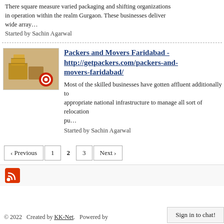There square measure varied packaging and shifting organizations in operation within the realm Gurgaon. These businesses deliver wide array…
Started by Sachin Agarwal
Packers and Movers Faridabad - http://getpackers.com/packers-and-movers-faridabad/
[Figure (photo): Thumbnail image of packed boxes with a target/bullseye badge overlay]
Most of the skilled businesses have gotten affluent additionally to appropriate national infrastructure to manage all sort of relocation pu…
Started by Sachin Agarwal
‹ Previous  1  2  3  Next ›
[Figure (logo): RSS feed icon]
© 2022   Created by KK-Net.   Powered by